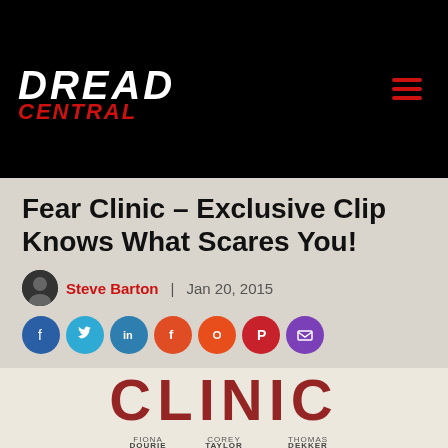[Figure (logo): Dread Central website logo in white and red on black background, with hamburger menu icon on the right]
Fear Clinic – Exclusive Clip Knows What Scares You!
Steve Barton | Jan 20, 2015
[Figure (infographic): Social sharing buttons: Facebook, Twitter, LinkedIn, Flipboard, Reddit, Pinterest, Email]
[Figure (photo): Fear Clinic movie poster showing the word CLINIC in large distressed red letters, with cast names FIONA DOURIE, COREY TAYLOR, and THOMAS DEKKER below]